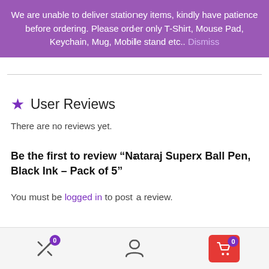We are unable to deliver stationey items, kindly have patience before ordering. Please order only T-Shirt, Mouse Pad, Keychain, Mug, Mobile stand etc.. Dismiss
User Reviews
There are no reviews yet.
Be the first to review “Nataraj Superx Ball Pen, Black Ink – Pack of 5”
You must be logged in to post a review.
Bottom navigation bar with compare (0), account, and cart (0) icons